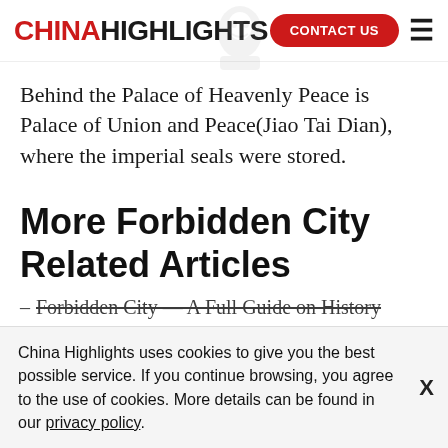CHINAHIGHLIGHTS | CONTACT US
Behind the Palace of Heavenly Peace is Palace of Union and Peace(Jiao Tai Dian), where the imperial seals were stored.
More Forbidden City Related Articles
Forbidden City — A Full Guide on History
China Highlights uses cookies to give you the best possible service. If you continue browsing, you agree to the use of cookies. More details can be found in our privacy policy.